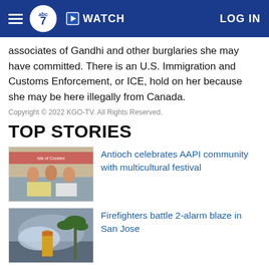ABC7 News — WATCH | LOG IN
associates of Gandhi and other burglaries she may have committed. There is an U.S. Immigration and Customs Enforcement, or ICE, hold on her because she may be here illegally from Canada.
Copyright © 2022 KGO-TV. All Rights Reserved.
TOP STORIES
Antioch celebrates AAPI community with multicultural festival
Firefighters battle 2-alarm blaze in San Jose